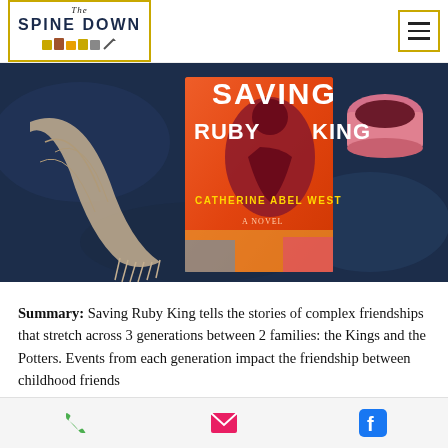The Spine Down
[Figure (photo): Photo of the book 'Saving Ruby King' by Catherine Abel West, a novel, placed on a dark navy blue fabric with a knitted scarf and a pink mug of tea.]
Summary: Saving Ruby King tells the stories of complex friendships that stretch across 3 generations between 2 families: the Kings and the Potters. Events from each generation impact the friendship between childhood friends
Phone | Email | Facebook icons